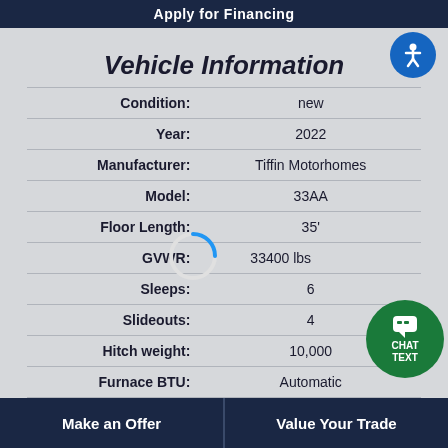Apply for Financing
Vehicle Information
| Field | Value |
| --- | --- |
| Condition: | new |
| Year: | 2022 |
| Manufacturer: | Tiffin Motorhomes |
| Model: | 33AA |
| Floor Length: | 35' |
| GVWR: | 33400 lbs |
| Sleeps: | 6 |
| Slideouts: | 4 |
| Hitch weight: | 10,000 |
| Furnace BTU: | Automatic |
| AC BTU: | 30,000 |
CHAT TEXT
Make an Offer
Value Your Trade